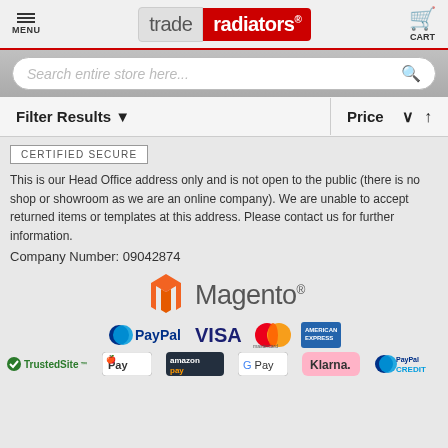[Figure (logo): Trade Radiators website header with menu hamburger icon, Trade Radiators logo (grey 'trade' + red 'radiators'), and cart icon]
[Figure (screenshot): Search bar with placeholder text 'Search entire store here...' and magnifying glass icon]
[Figure (screenshot): Filter Results and Price sort bar]
CERTIFIED SECURE
This is our Head Office address only and is not open to the public (there is no shop or showroom as we are an online company). We are unable to accept returned items or templates at this address. Please contact us for further information.
Company Number: 09042874
[Figure (logo): Magento logo with orange icon and grey Magento text]
[Figure (logo): Payment logos: PayPal, VISA, Mastercard, American Express, Apple Pay, Amazon Pay, Google Pay, Klarna, PayPal Credit, TrustedSite]